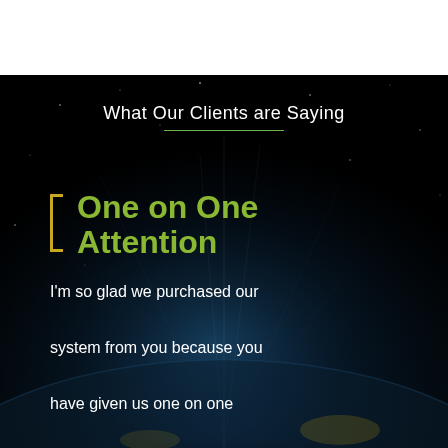What Our Clients are Saying
❐  One on One Attention
I'm so glad we purchased our system from you because you have given us one on one attention